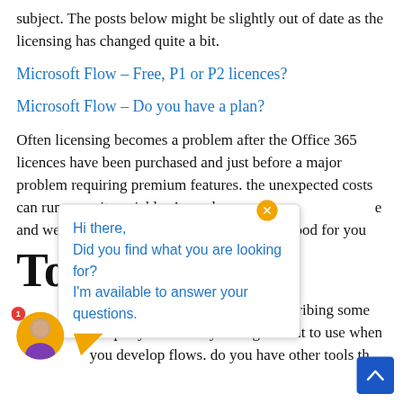subject. The posts below might be slightly out of date as the licensing has changed quite a bit.
Microsoft Flow – Free, P1 or P2 licences?
Microsoft Flow – Do you have a plan?
Often licensing becomes a problem after the Office 365 licences have been purchased and just before a major problem requiring premium features. the unexpected costs can run up quite quickly. Any adv[...] he and we can hav[...] be good for you[...]
To
[Figure (screenshot): Chat popup overlay with orange arrow, avatar with red badge showing '1', message text: 'Hi there, Did you find what you are looking for? I'm available to answer your questions.' with blue text, and an orange close button with X]
section of this user guide I'm describing some 3rd party tools that you might want to use when you develop flows. do you have other tools th[...]
[Figure (screenshot): Blue scroll-to-top button with white caret/chevron arrow pointing up, positioned at bottom right]